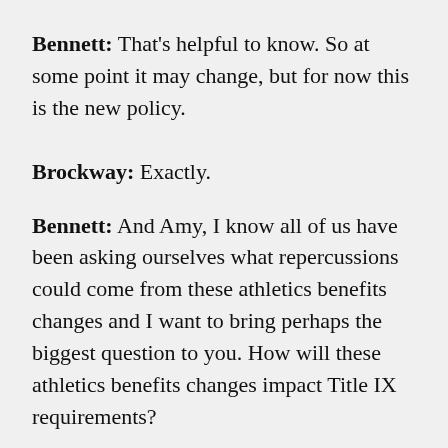Bennett: That's helpful to know. So at some point it may change, but for now this is the new policy.
Brockway: Exactly.
Bennett: And Amy, I know all of us have been asking ourselves what repercussions could come from these athletics benefits changes and I want to bring perhaps the biggest question to you. How will these athletics benefits changes impact Title IX requirements?